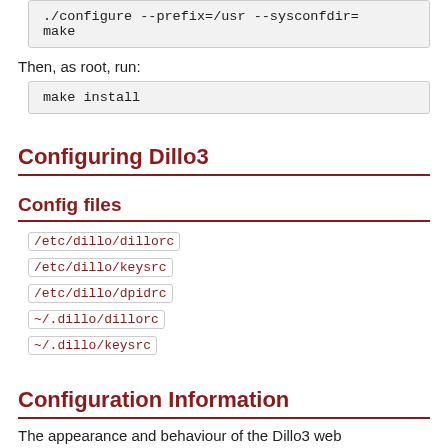./configure --prefix=/usr --sysconfdir=...
make
Then, as root, run:
make install
Configuring Dillo3
Config files
/etc/dillo/dillorc
/etc/dillo/keysrc
/etc/dillo/dpidrc
~/.dillo/dillorc
~/.dillo/keysrc
Configuration Information
The appearance and behaviour of the Dillo3 web